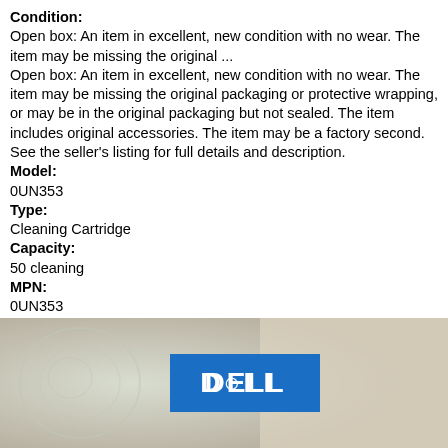Condition:
Open box: An item in excellent, new condition with no wear. The item may be missing the original ...
Open box: An item in excellent, new condition with no wear. The item may be missing the original packaging or protective wrapping, or may be in the original packaging but not sealed. The item includes original accessories. The item may be a factory second. See the seller's listing for full details and description.
Model:
0UN353
Type:
Cleaning Cartridge
Capacity:
50 cleaning
MPN:
0UN353
Brand:
Dell
[Figure (photo): Photo of a Dell cleaning cartridge product box with blue Dell logo label on a light-colored background with subtle swirl pattern.]